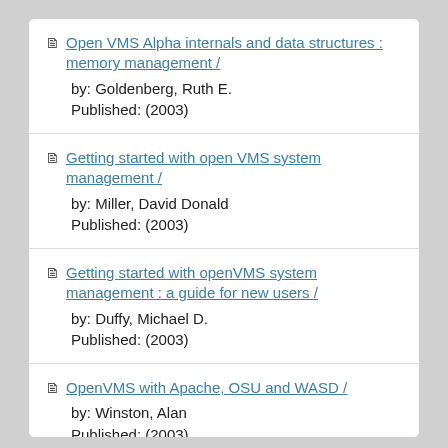Open VMS Alpha internals and data structures : memory management /
by: Goldenberg, Ruth E.
Published: (2003)
Getting started with open VMS system management /
by: Miller, David Donald
Published: (2003)
Getting started with openVMS system management : a guide for new users /
by: Duffy, Michael D.
Published: (2003)
OpenVMS with Apache, OSU and WASD /
by: Winston, Alan
Published: (2003)
Virtualization with VMware ESX Server /
Published: (2005)